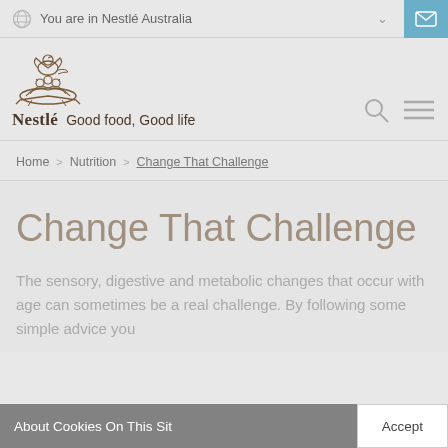You are in Nestlé Australia
[Figure (logo): Nestlé logo with bird nest illustration and wordmark 'Nestlé' with tagline 'Good food, Good life']
Home > Nutrition > Change That Challenge
Change That Challenge
The sensory, digestive and metabolic changes that occur with age can sometimes be a real challenge. By following some simple advice you
About Cookies On This Sit...
Accept